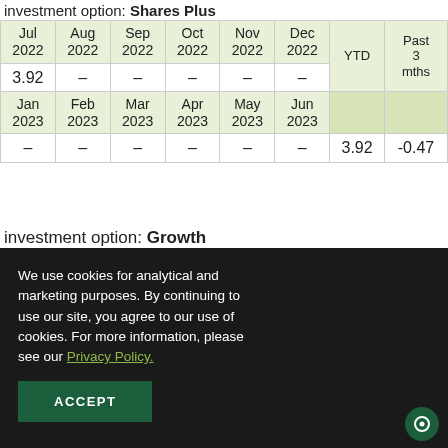investment option: Shares Plus
| Jul 2022 | Aug 2022 | Sep 2022 | Oct 2022 | Nov 2022 | Dec 2022 | YTD | Past 3 mths |
| --- | --- | --- | --- | --- | --- | --- | --- |
| 3.92 | – | – | – | – | – |  |  |
| Jan 2023 | Feb 2023 | Mar 2023 | Apr 2023 | May 2023 | Jun 2023 |  |  |
| – | – | – | – | – | – | 3.92 | -0.47 |
investment option: Growth
We use cookies for analytical and marketing purposes. By continuing to use our site, you agree to our use of cookies. For more information, please see our Privacy Policy.